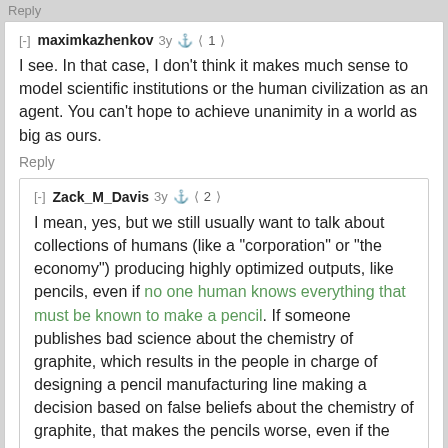Reply
[-] maximkazhenkov  3y  < 1 >
I see. In that case, I don't think it makes much sense to model scientific institutions or the human civilization as an agent. You can't hope to achieve unanimity in a world as big as ours.
Reply
[-] Zack_M_Davis  3y  < 2 >
I mean, yes, but we still usually want to talk about collections of humans (like a "corporation" or "the economy") producing highly optimized outputs, like pencils, even if no one human knows everything that must be known to make a pencil. If someone publishes bad science about the chemistry of graphite, which results in the people in charge of designing a pencil manufacturing line making a decision based on false beliefs about the chemistry of graphite, that makes the pencils worse, even if the humans never achieve unanimity and you don't want to use the language of "agency" to talk about this process.
Reply